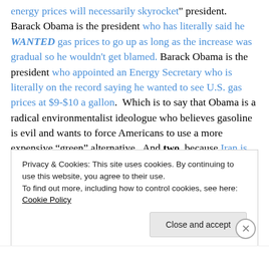energy prices will necessarily skyrocket" president. Barack Obama is the president who has literally said he WANTED gas prices to go up as long as the increase was gradual so he wouldn't get blamed. Barack Obama is the president who appointed an Energy Secretary who is literally on the record saying he wanted to see U.S. gas prices at $9-$10 a gallon.  Which is to say that Obama is a radical environmentalist ideologue who believes gasoline is evil and wants to force Americans to use a more expensive “green” alternative.  And two, because Iran is by all accounts at the threshold of attaining nuclear weapons
Privacy & Cookies: This site uses cookies. By continuing to use this website, you agree to their use.
To find out more, including how to control cookies, see here: Cookie Policy